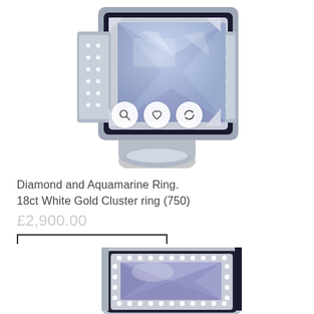[Figure (photo): Close-up photo of a Diamond and Aquamarine cluster ring in 18ct white gold, viewed from above at an angle. Features a large rectangular pale blue aquamarine stone surrounded by small diamonds in a silver/white gold setting. Three circular icon buttons (magnify, heart/wishlist, compare) are overlaid at the bottom of the image.]
Diamond and Aquamarine Ring. 18ct White Gold Cluster ring (750)
£2,900.00
SELECT OPTIONS
[Figure (photo): Close-up photo of the same Diamond and Aquamarine cluster ring in 18ct white gold, viewed from directly above. Shows the large square pale blue/lavender aquamarine center stone surrounded by a border of small round diamonds in white gold setting.]